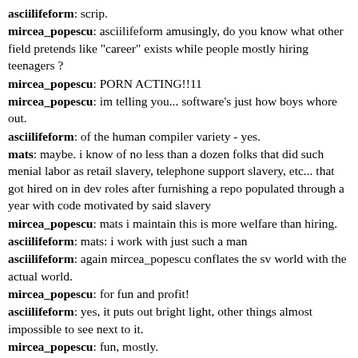asciilifeform: scrip.
mircea_popescu: asciilifeform amusingly, do you know what other field pretends like "career" exists while people mostly hiring teenagers ?
mircea_popescu: PORN ACTING!!11
mircea_popescu: im telling you... software's just how boys whore out.
asciilifeform: of the human compiler variety - yes.
mats: maybe. i know of no less than a dozen folks that did such menial labor as retail slavery, telephone support slavery, etc... that got hired on in dev roles after furnishing a repo populated through a year with code motivated by said slavery
mircea_popescu: mats i maintain this is more welfare than hiring.
asciilifeform: mats: i work with just such a man
asciilifeform: again mircea_popescu conflates the sv world with the actual world.
mircea_popescu: for fun and profit!
asciilifeform: yes, it puts out bright light, other things almost impossible to see next to it.
mircea_popescu: fun, mostly.
mircea_popescu: re the "refugee problem" : so the us has been derping about "being a regional power" and sheriffing things and places for reasons.
mircea_popescu: now europe gotta pay for 1-2mn refugees that came out of all that.